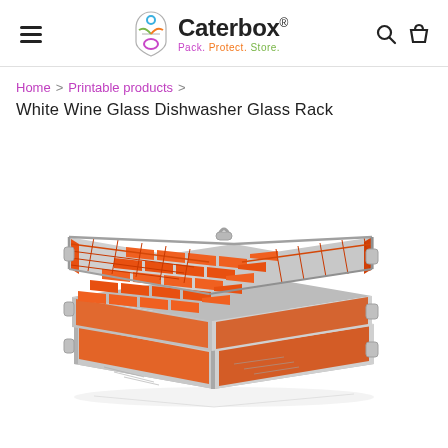Caterbox® — Pack. Protect. Store.
Home > Printable products > White Wine Glass Dishwasher Glass Rack
White Wine Glass Dishwasher Glass Rack
[Figure (photo): Orange and grey plastic dishwasher glass rack with 25-compartment grid insert, shown in a perspective/isometric view. The rack has two stacked grey plastic tiers with orange internal dividers forming compartments for glasses.]